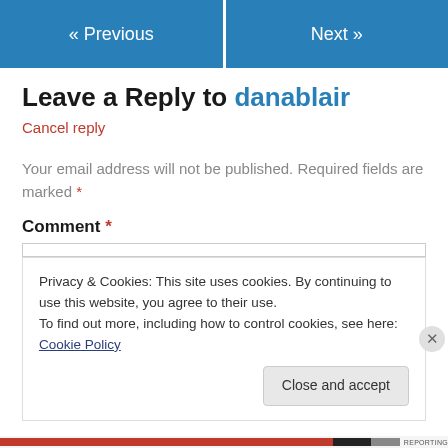« Previous   Next »
Leave a Reply to danablair
Cancel reply
Your email address will not be published. Required fields are marked *
Comment *
Privacy & Cookies: This site uses cookies. By continuing to use this website, you agree to their use.
To find out more, including how to control cookies, see here: Cookie Policy
Close and accept